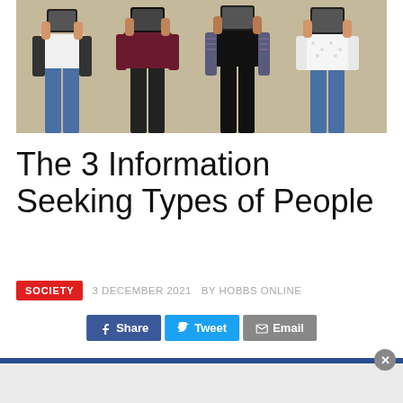[Figure (photo): Four people standing side by side against a beige/tan background, each holding a smartphone up toward their face covering the lower part of their faces. From left to right: person in white top and blue jeans, person in dark maroon top and black pants, person in black outfit with tattooed arms, person in white polka-dot blouse and blue jeans.]
The 3 Information Seeking Types of People
SOCIETY   3 DECEMBER 2021   BY HOBBS ONLINE
[Figure (screenshot): Social sharing buttons row: Facebook Share button (blue), Twitter Tweet button (blue), Email button (grey)]